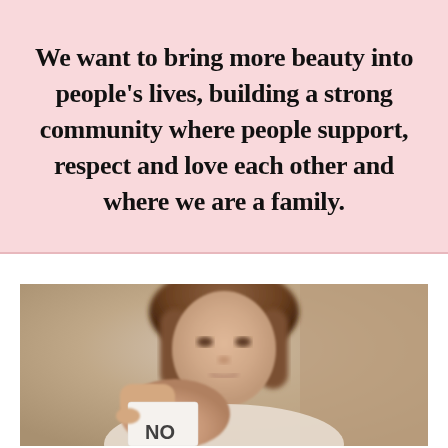We want to bring more beauty into people's lives, building a strong community where people support, respect and love each other and where we are a family.
[Figure (photo): A woman with brown hair holding up a small torn piece of paper toward the camera. Her face is slightly blurred/out of focus. The paper appears to have text on it (partially visible at bottom). Background is warm grey/beige tones.]